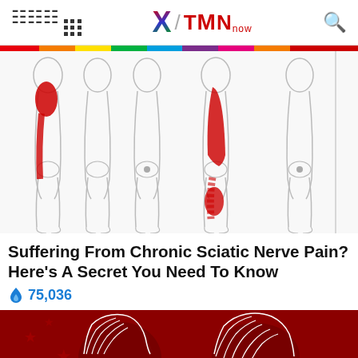X / TMN
[Figure (illustration): Medical illustration showing multiple views of human legs with red highlighted areas indicating sciatic nerve pain locations running down the back and side of the legs]
Suffering From Chronic Sciatic Nerve Pain? Here's A Secret You Need To Know
🔥 75,036
[Figure (illustration): Red background illustration showing two silhouetted head profiles with white line drawings, appearing to be political figures]